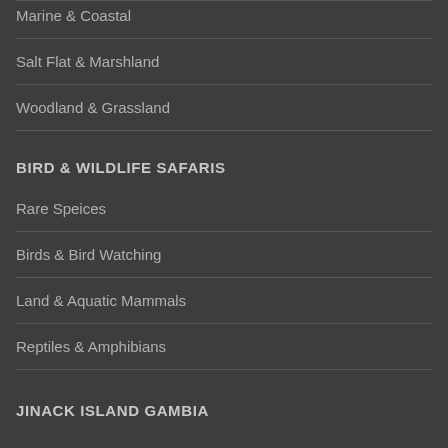Marine & Coastal
Salt Flat & Marshland
Woodland & Grassland
BIRD & WILDLIFE SAFARIS
Rare Speices
Birds & Bird Watching
Land & Aquatic Mammals
Reptiles & Amphibians
JINACK ISLAND GAMBIA